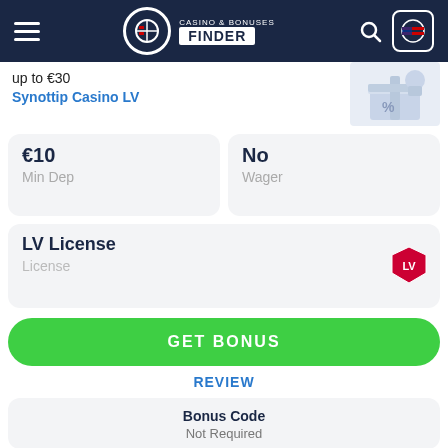CASINO & BONUSES FINDER
up to €30
Synottip Casino LV
| Min Dep | Wager |
| --- | --- |
| €10 | No |
LV License
License
GET BONUS
REVIEW
Bonus Code
Not Required
User feedback
0 GOOD
0 BAD